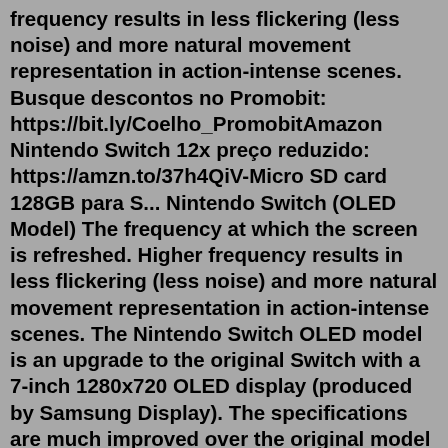frequency results in less flickering (less noise) and more natural movement representation in action-intense scenes. Busque descontos no Promobit: https://bit.ly/Coelho_Promobit​Amazon Nintendo Switch 12x preço reduzido: https://amzn.to/37h4QiV-Micro SD card 128GB para S... Nintendo Switch (OLED Model) The frequency at which the screen is refreshed. Higher frequency results in less flickering (less noise) and more natural movement representation in action-intense scenes. The Nintendo Switch OLED model is an upgrade to the original Switch with a 7-inch 1280x720 OLED display (produced by Samsung Display). The specifications are much improved over the original model - the storage has been upgraded to 64GB, and there is support for wired LAN and not just Wi-Fi. ... Pulse-width modulation (PWM) in OLED displays; LG ...Answer (1 of 7): What people are concerning about the OLED screen is the burn-ins, which is a very common problem for this type of screen, especially